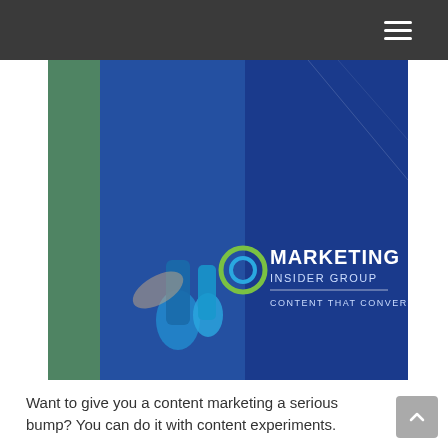[Figure (photo): Marketing Insider Group banner image showing a person working with laboratory glassware, overlaid on a blue background with the Marketing Insider Group logo and tagline 'CONTENT THAT CONVERTS']
Want to give you a content marketing a serious bump? You can do it with content experiments.